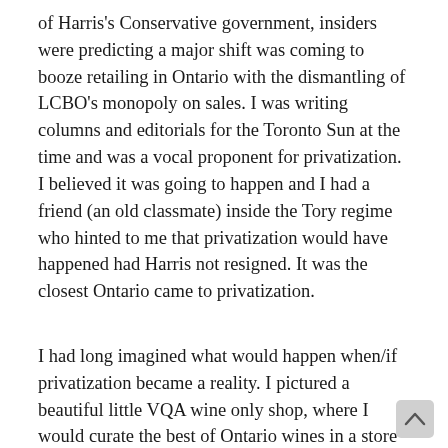of Harris's Conservative government, insiders were predicting a major shift was coming to booze retailing in Ontario with the dismantling of LCBO's monopoly on sales. I was writing columns and editorials for the Toronto Sun at the time and was a vocal proponent for privatization. I believed it was going to happen and I had a friend (an old classmate) inside the Tory regime who hinted to me that privatization would have happened had Harris not resigned. It was the closest Ontario came to privatization.
I had long imagined what would happen when/if privatization became a reality. I pictured a beautiful little VQA wine only shop, where I would curate the best of Ontario wines in a store modelled after the VQA shops at the time in B.C. They were a gathering place for wine enthusiasts fully engaged in Canadian wine with a large retail component, seminars, and tastings with winemakers. It was a dream of mine that sadly never had a chance. Each subsequent government after Harris fortified the fortress around the LCBO and privatization